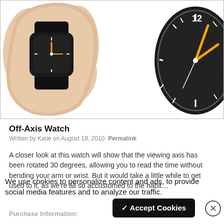[Figure (photo): Product photo showing an Off-Axis Watch: left side shows wrist wearing a black watch with orange hands, right side shows close-up of the watch face with dark dial, white hour markers, orange hands, and the numeral 12 at the top.]
Off-Axis Watch
Written by Katie on August 19, 2010. Permalink
A closer look at this watch will show that the viewing axis has been rotated 30 degrees, allowing you to read the time without bending your arm or wrist. But it would take a little while to get used to it, as we're all so accustomed to the habit...
We use cookies to personalize content and ads, to provide social media features and to analyze our traffic.
✓ Accept Cookies
Purchase Information: